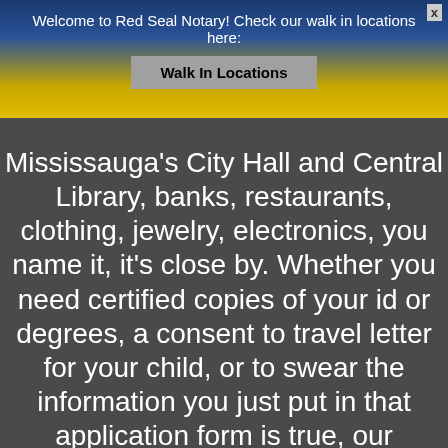Welcome to Red Seal Notary! Check our walk in locations here:
Walk In Locations
Mississauga's City Hall and Central Library, banks, restaurants, clothing, jewelry, electronics, you name it, it's close by. Whether you need certified copies of your id or degrees, a consent to travel letter for your child, or to swear the information you just put in that application form is true, our Mississauga walk in location is ready to help you. Open 6 days a week, it couldn't be easier. If you want to get your documents notarized in the middle of your daily commute, or get your RCMP fingerprints done during a day of